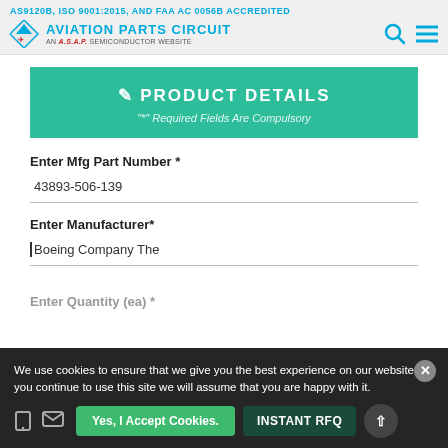AS9120B, ISO 9001:2015, AND FAA AC 0056B ACCREDITED
AVIATION PARTS CIRCUIT — AN A.S.A.P. SEMICONDUCTOR WEBSITE
PRODUCT DETAILS
"*" Required Fields Are Compulsory
Enter Mfg Part Number *
43893-506-139
Enter Manufacturer*
Boeing Company The
Enter Quantity (ea) *
We use cookies to ensure that we give you the best experience on our website. If you continue to use this site we will assume that you are happy with it.